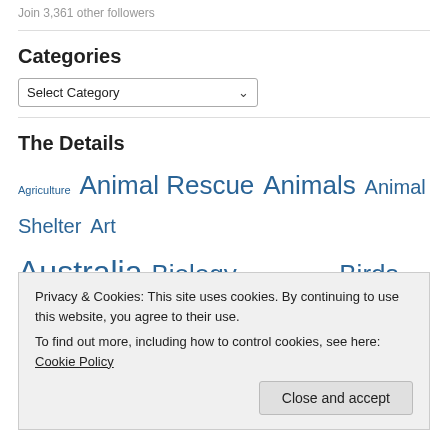Join 3,361 other followers
Categories
[Figure (screenshot): Select Category dropdown widget]
The Details
Agriculture Animal Rescue Animals Animal Shelter Art Australia Biology Bird-watching Birds Blogging Books botany Bugs Butterflies California Cat Catherine Sherman Cats
Privacy & Cookies: This site uses cookies. By continuing to use this website, you agree to their use. To find out more, including how to control cookies, see here: Cookie Policy
Close and accept